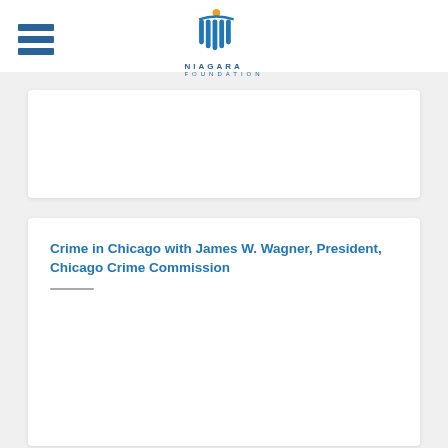NIAGARA FOUNDATION
[Figure (logo): Niagara Foundation logo with stylized water/curtain icon and sun above, text NIAGARA FOUNDATION below]
Crime in Chicago with James W. Wagner, President, Chicago Crime Commission